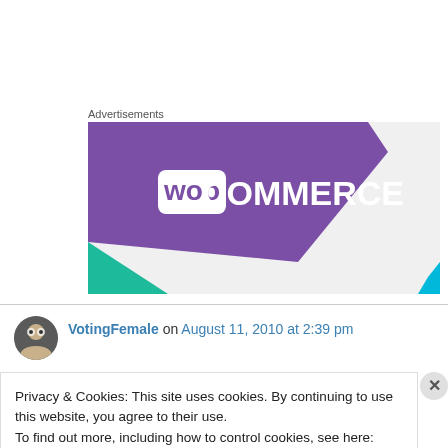Advertisements
[Figure (logo): WooCommerce advertisement banner with purple background and WooCommerce logo in white, with teal and cyan geometric accent shapes]
VotingFemale on August 11, 2010 at 2:39 pm
Privacy & Cookies: This site uses cookies. By continuing to use this website, you agree to their use.
To find out more, including how to control cookies, see here: Cookie Policy